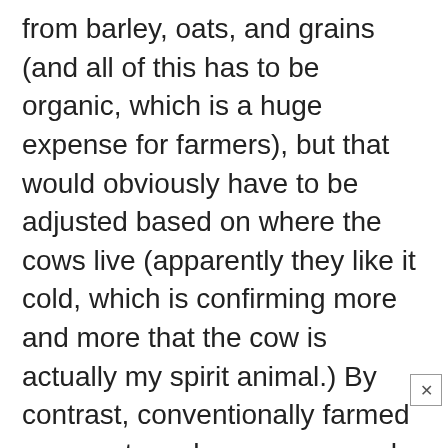about 40% from stored alfalfa and hay, and 10% from barley, oats, and grains (and all of this has to be organic, which is a huge expense for farmers), but that would obviously have to be adjusted based on where the cows live (apparently they like it cold, which is confirming more and more that the cow is actually my spirit animal.) By contrast, conventionally farmed cows eat much more corn and soy, which is inexpensive, but is also less healthy for the cow and leads to less healthy meat and milk for us. Organic dairies require about 1-2 acres of pasture per cow in order to comply with the Organic Standard, which is a lot of land, which is expensive for farmers (and is one of the reasons organic is more